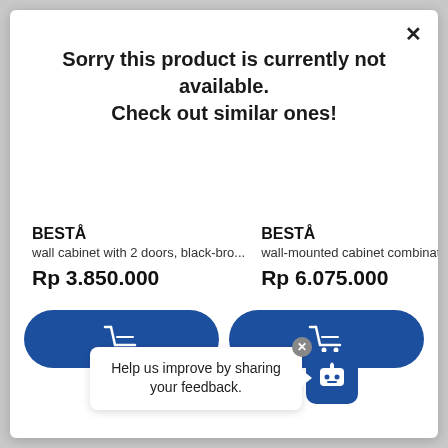×
Sorry this product is currently not available. Check out similar ones!
BESTÅ
wall cabinet with 2 doors, black-bro...
Rp 3.850.000
BESTÅ
wall-mounted cabinet combination, ...
Rp 6.075.000
Help us improve by sharing your feedback.